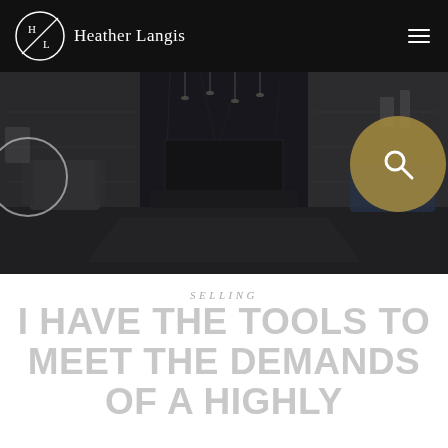Heather Langis
[Figure (photo): Interior living room with dark modern decor, fireplace, gray armchairs, glass coffee table, and pendant lighting, overlaid with semi-transparent dark overlay and decorative circles]
SELLING
I HAVE THE TOOLS TO MEET THE DEMANDS OF A HIGHLY